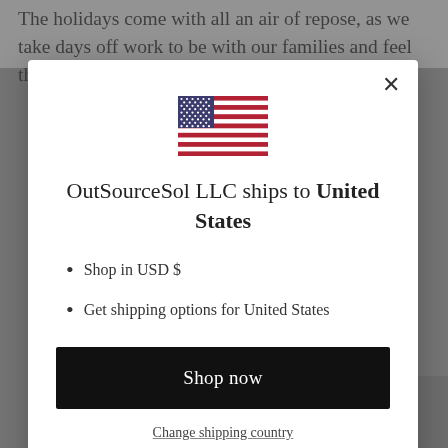The holidays come with all an air of repose, as we take days off work to be with our families and feel the reason for the season light up around the
[Figure (screenshot): Modal dialog showing US flag, shipping destination text, bullet list, Shop now button, and Change shipping country link]
OutSourceSol LLC ships to United States
Shop in USD $
Get shipping options for United States
Shop now
Change shipping country
[Figure (photo): Photo strip at bottom showing two grayscale photos of people wearing hats]